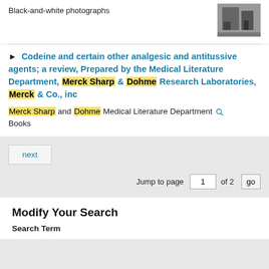Black-and-white photographs
[Figure (photo): Black and white photograph of people]
Codeine and certain other analgesic and antitussive agents; a review, Prepared by the Medical Literature Department, Merck Sharp & Dohme Research Laboratories, Merck & Co., inc
Merck Sharp and Dohme Medical Literature Department
Books
next
Jump to page 1 of 2 go
Modify Your Search
Search Term